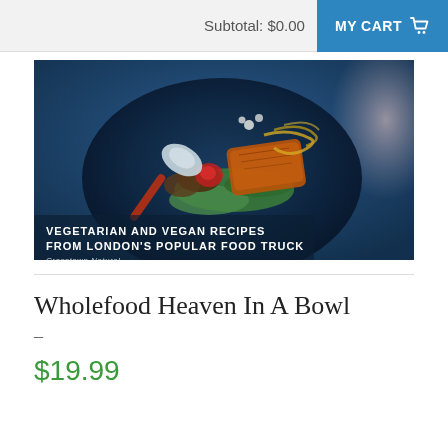Subtotal: $0.00   MY CART
[Figure (photo): Book cover photo of a bowl of vegetarian food with text 'VEGETARIAN AND VEGAN RECIPES FROM LONDON'S POPULAR FOOD TRUCK' and 'Crosstown Naiural']
Wholefood Heaven In A Bowl
-
$19.99